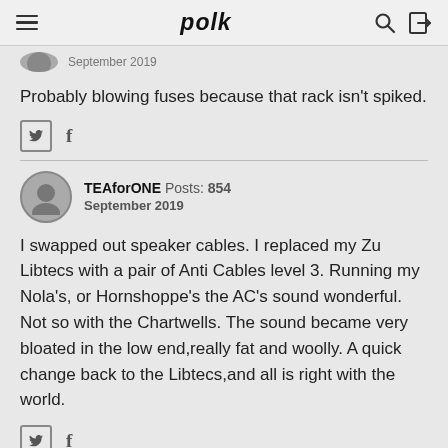polk
September 2019
Probably blowing fuses because that rack isn't spiked.
TEAforONE  Posts: 854  September 2019
I swapped out speaker cables. I replaced my Zu Libtecs with a pair of Anti Cables level 3. Running my Nola's, or Hornshoppe's the AC's sound wonderful. Not so with the Chartwells. The sound became very bloated in the low end,really fat and woolly. A quick change back to the Libtecs,and all is right with the world.